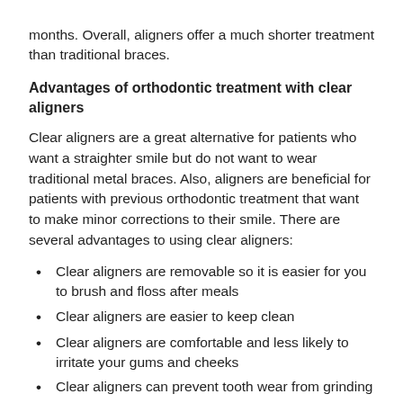months. Overall, aligners offer a much shorter treatment than traditional braces.
Advantages of orthodontic treatment with clear aligners
Clear aligners are a great alternative for patients who want a straighter smile but do not want to wear traditional metal braces. Also, aligners are beneficial for patients with previous orthodontic treatment that want to make minor corrections to their smile. There are several advantages to using clear aligners:
Clear aligners are removable so it is easier for you to brush and floss after meals
Clear aligners are easier to keep clean
Clear aligners are comfortable and less likely to irritate your gums and cheeks
Clear aligners can prevent tooth wear from grinding